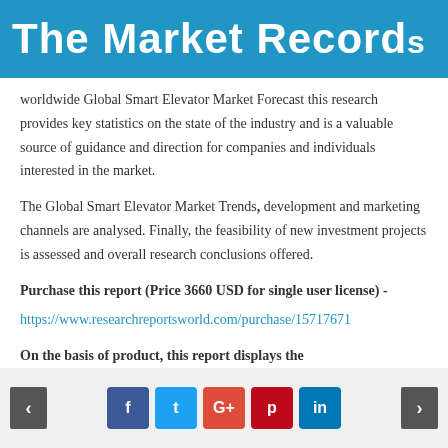The Market Records
worldwide Global Smart Elevator Market Forecast this research provides key statistics on the state of the industry and is a valuable source of guidance and direction for companies and individuals interested in the market.
The Global Smart Elevator Market Trends, development and marketing channels are analysed. Finally, the feasibility of new investment projects is assessed and overall research conclusions offered.
Purchase this report (Price 3660 USD for single user license) -
https://www.researchreportsworld.com/purchase/15717671
On the basis of product, this report displays the
< f t G+ p in >